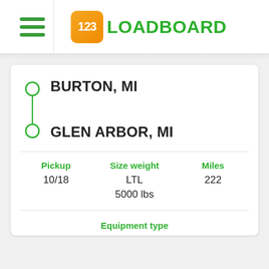123LOADBOARD
BURTON, MI
GLEN ARBOR, MI
| Pickup | Size weight | Miles |
| --- | --- | --- |
| 10/18 | LTL
5000 lbs | 222 |
Equipment type